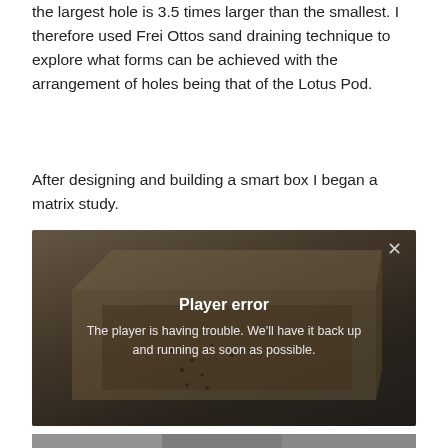the largest hole is 3.5 times larger than the smallest. I therefore used Frei Ottos sand draining technique to explore what forms can be achieved with the arrangement of holes being that of the Lotus Pod.
After designing and building a smart box I began a matrix study.
[Figure (screenshot): Photo of a wooden box/tray with small holes in it overlaid with a video player error message: 'Player error — The player is having trouble. We'll have it back up and running as soon as possible.' with an X close button in the top right corner.]
[Figure (photo): Partially visible photo at the bottom of the page, appears to be a landscape or surface texture in grayscale.]